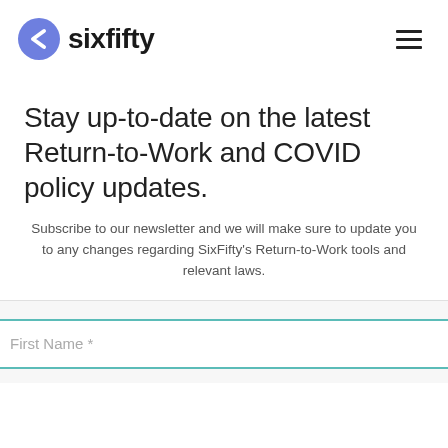sixfifty
Stay up-to-date on the latest Return-to-Work and COVID policy updates.
Subscribe to our newsletter and we will make sure to update you to any changes regarding SixFifty's Return-to-Work tools and relevant laws.
First Name *